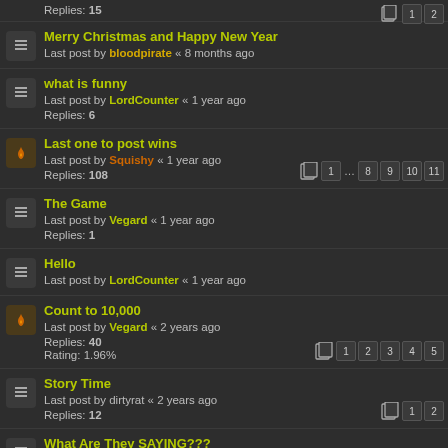Replies: 15 [pagination: 1, 2]
Merry Christmas and Happy New Year
Last post by bloodpirate « 8 months ago
what is funny
Last post by LordCounter « 1 year ago
Replies: 6
Last one to post wins
Last post by Squishy « 1 year ago
Replies: 108 [pagination: 1 ... 8 9 10 11]
The Game
Last post by Vegard « 1 year ago
Replies: 1
Hello
Last post by LordCounter « 1 year ago
Count to 10,000
Last post by Vegard « 2 years ago
Replies: 40
Rating: 1.96% [pagination: 1 2 3 4 5]
Story Time
Last post by dirtyrat « 2 years ago
Replies: 12 [pagination: 1 2]
What Are They SAYING???
Last post by dirtyrat « 2 years ago
Replies: 2
Favorite Quotes (partial)